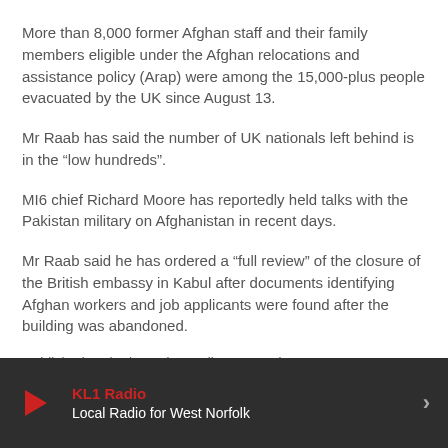More than 8,000 former Afghan staff and their family members eligible under the Afghan relocations and assistance policy (Arap) were among the 15,000-plus people evacuated by the UK since August 13.
Mr Raab has said the number of UK nationals left behind is in the “low hundreds”.
MI6 chief Richard Moore has reportedly held talks with the Pakistan military on Afghanistan in recent days.
Mr Raab said he has ordered a “full review” of the closure of the British embassy in Kabul after documents identifying Afghan workers and job applicants were found after the building was abandoned.
Published: 01/09/2021 by Radio NewsHub
KL1 Radio | Local Radio for West Norfolk